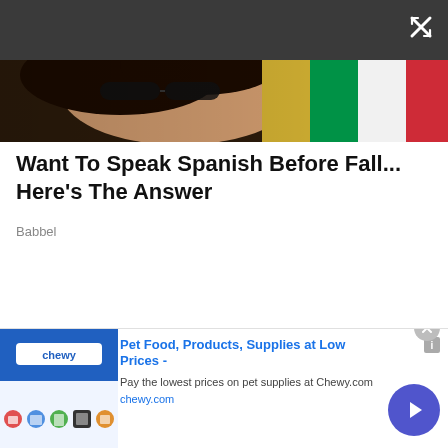[Figure (screenshot): Dark gray top bar with a white close/expand icon (X with arrows) in the top-right corner]
[Figure (photo): Banner image showing a woman's face partially visible with dark hair, and background with Italian/Spanish flag colors (green, white, gold/yellow, red)]
Want To Speak Spanish Before Fall... Here's The Answer
Babbel
[Figure (screenshot): Advertisement for Chewy.com - Pet Food, Products, Supplies at Low Prices. Shows product images on left, ad text in center, and a blue arrow button on the right. Close button (X in circle) at top right of ad.]